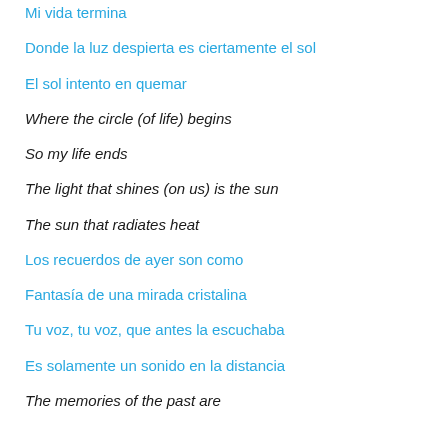Mi vida termina
Donde la luz despierta es ciertamente el sol
El sol intento en quemar
Where the circle (of life) begins
So my life ends
The light that shines (on us) is the sun
The sun that radiates heat
Los recuerdos de ayer son como
Fantasía de una mirada cristalina
Tu voz, tu voz, que antes la escuchaba
Es solamente un sonido en la distancia
The memories of the past are